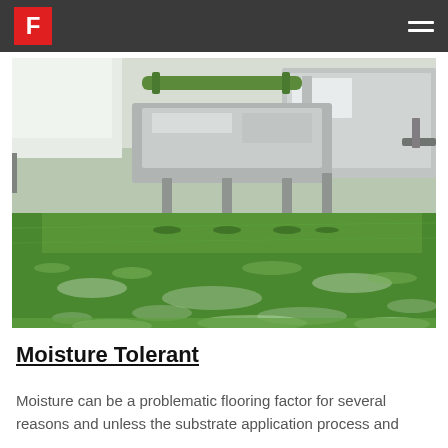F
[Figure (photo): Industrial factory floor with green epoxy/resin flooring and stainless steel machinery in a food processing or manufacturing facility. The green floor is textured and reflective with light patterns. Shot from a low angle near floor level.]
Moisture Tolerant
Moisture can be a problematic flooring factor for several reasons and unless the substrate application process and